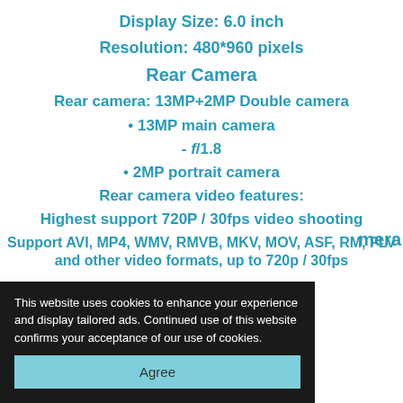Display Size: 6.0 inch
Resolution: 480*960 pixels
Rear Camera
Rear camera: 13MP+2MP Double camera
• 13MP main camera
- f/1.8
• 2MP portrait camera
Rear camera video features:
Highest support 720P / 30fps video shooting
Support AVI, MP4, WMV, RMVB, MKV, MOV, ASF, RM, FLV and other video formats, up to 720p / 30fps
...mera
This website uses cookies to enhance your experience and display tailored ads. Continued use of this website confirms your acceptance of our use of cookies.
Agree